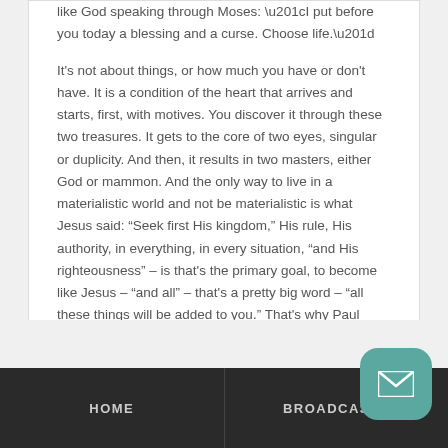like God speaking through Moses: “I put before you today a blessing and a curse. Choose life.”

It’s not about things, or how much you have or don’t have. It is a condition of the heart that arrives and starts, first, with motives. You discover it through these two treasures. It gets to the core of two eyes, singular or duplicity. And then, it results in two masters, either God or mammon. And the only way to live in a materialistic world and not be materialistic is what Jesus said: “Seek first His kingdom,” His rule, His authority, in everything, in every situation, “and His righteousness” – is that’s the primary goal, to become like Jesus – “and all” – that’s a pretty big word – “all these things will be added to you.” That’s why Paul would say, “Don’t fix your eyes on these things.” But then, he said, “Richly enjoy all these things that God gives you,” when they’re gifts.
HOME    BROADCASTS